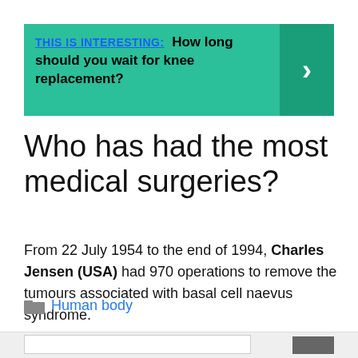[Figure (infographic): Green banner with text 'THIS IS INTERESTING: How long should you wait for knee replacement?' and a right-arrow button on the right side]
Who has had the most medical surgeries?
From 22 July 1954 to the end of 1994, Charles Jensen (USA) had 970 operations to remove the tumours associated with basal cell naevus syndrome.
Human body